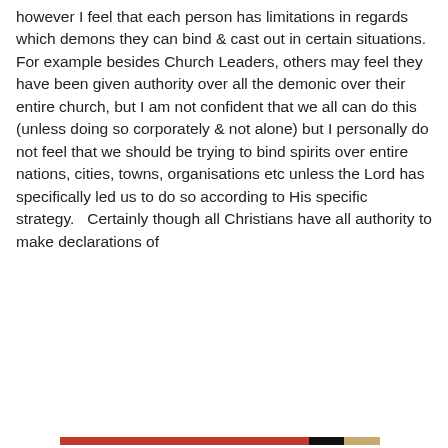however I feel that each person has limitations in regards which demons they can bind & cast out in certain situations.  For example besides Church Leaders, others may feel they have been given authority over all the demonic over their entire church, but I am not confident that we all can do this (unless doing so corporately & not alone) but I personally do not feel that we should be trying to bind spirits over entire nations, cities, towns, organisations etc unless the Lord has specifically led us to do so according to His specific strategy.   Certainly though all Christians have all authority to make declarations of
Privacy & Cookies: This site uses cookies. By continuing to use this website, you agree to their use.
To find out more, including how to control cookies, see here: Cookie Policy